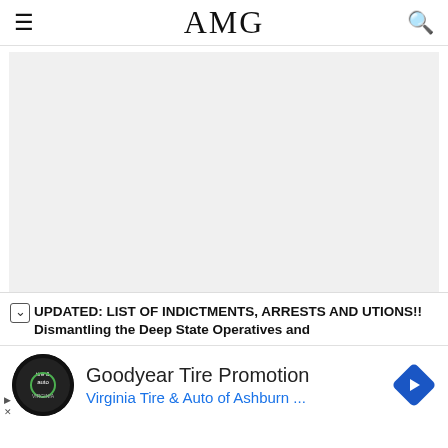AMG
[Figure (other): Light gray placeholder image area representing a loaded webpage image]
UPDATED: LIST OF INDICTMENTS, ARRESTS AND UTIONS!! Dismantling the Deep State Operatives and
[Figure (other): Advertisement: Goodyear Tire Promotion - Virginia Tire & Auto of Ashburn ...]